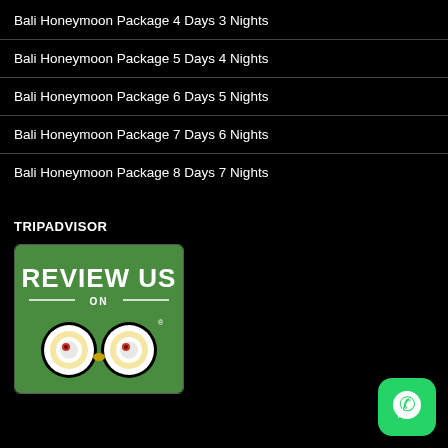Bali Honeymoon Package 4 Days 3 Nights
Bali Honeymoon Package 5 Days 4 Nights
Bali Honeymoon Package 6 Days 5 Nights
Bali Honeymoon Package 7 Days 6 Nights
Bali Honeymoon Package 8 Days 7 Nights
TRIPADVISOR
[Figure (logo): TripAdvisor 'Review Us' badge with green background, owl logo, and text REVIEW US ON with TripAdvisor owl icon]
[Figure (logo): WhatsApp icon button, green rounded square with white phone/chat icon]